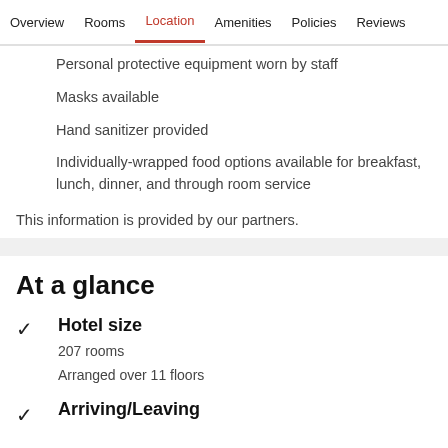Overview  Rooms  Location  Amenities  Policies  Reviews
Personal protective equipment worn by staff
Masks available
Hand sanitizer provided
Individually-wrapped food options available for breakfast, lunch, dinner, and through room service
This information is provided by our partners.
At a glance
Hotel size
207 rooms
Arranged over 11 floors
Arriving/Leaving